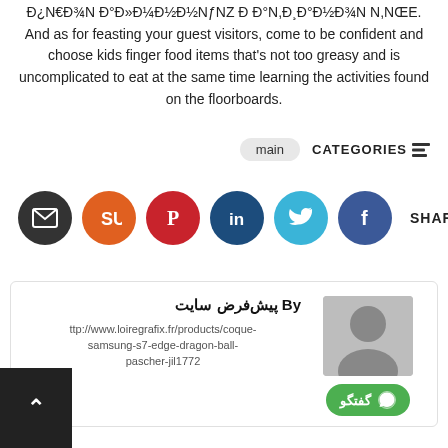Đ¿N€Đ¾N Đ°Đ»Đ¼Đ½Đ½NƒNZ Đ Đ°N,Đ¸Đ°Đ½Đ¾N N,NŒE. And as for feasting your guest visitors, come to be confident and choose kids finger food items that's not too greasy and is uncomplicated to eat at the same time learning the activities found on the floorboards.
main  CATEGORIES
[Figure (other): Social share icons: email (dark), stumbleupon (orange), pinterest (red), linkedin (dark blue), twitter (light blue), facebook (dark blue). SHARE label with share icon.]
By پیش‌فرض سایت
ttp://www.loiregrafix.fr/products/coque-samsung-s7-edge-dragon-ball-pascher-jil1772
[Figure (other): Author avatar placeholder (gray box with person silhouette) and green WhatsApp گفتگو button]